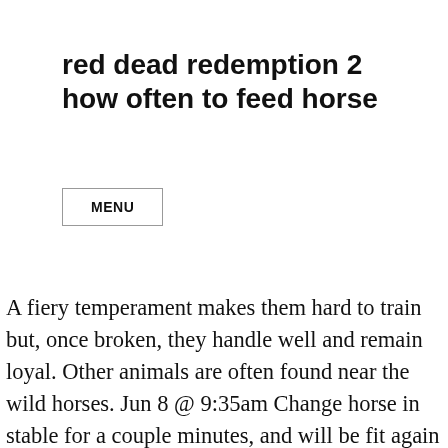red dead redemption 2 how often to feed horse
MENU
A fiery temperament makes them hard to train but, once broken, they handle well and remain loyal. Other animals are often found near the wild horses. Jun 8 @ 9:35am Change horse in stable for a couple minutes, and will be fit again #7. This Red Dead Redemption 2 guide will talk you through what you need to know on how to feed your horse so you can keep it in the best condition possible. Red Dead Redemption 2. Red Dead